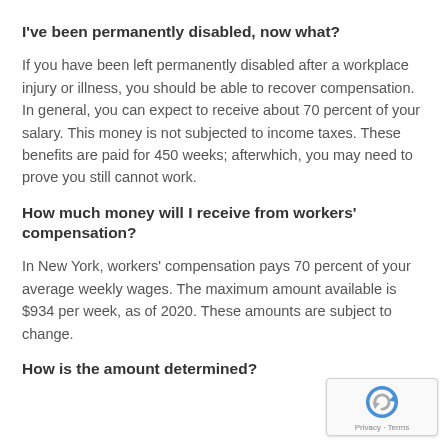I've been permanently disabled, now what?
If you have been left permanently disabled after a workplace injury or illness, you should be able to recover compensation. In general, you can expect to receive about 70 percent of your salary. This money is not subjected to income taxes. These benefits are paid for 450 weeks; afterwhich, you may need to prove you still cannot work.
How much money will I receive from workers' compensation?
In New York, workers' compensation pays 70 percent of your average weekly wages. The maximum amount available is $934 per week, as of 2020. These amounts are subject to change.
How is the amount determined?